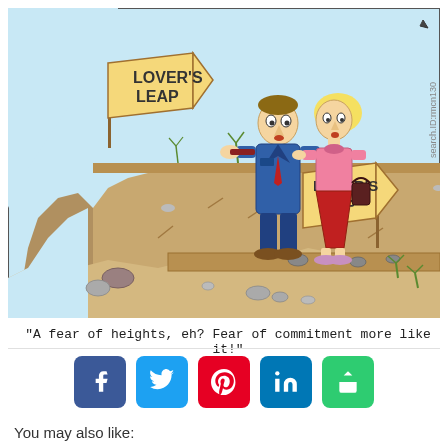[Figure (illustration): A comic cartoon strip showing two people (a man in a blue suit and a woman in a red skirt) standing at the edge of a cliff. There is a wooden sign reading 'LOVER'S LEAP' on the left and another sign reading 'LOVER'S HOP' on the right. The background shows a blue sky with white clouds on the left side and rocky terrain. The watermark 'search.ID:rmcn130' is visible along the right edge.]
"A fear of heights, eh? Fear of commitment more like it!"
[Figure (infographic): Social media sharing buttons: Facebook (blue), Twitter (blue), Pinterest (red), LinkedIn (blue), Share/Other (green)]
You may also like: